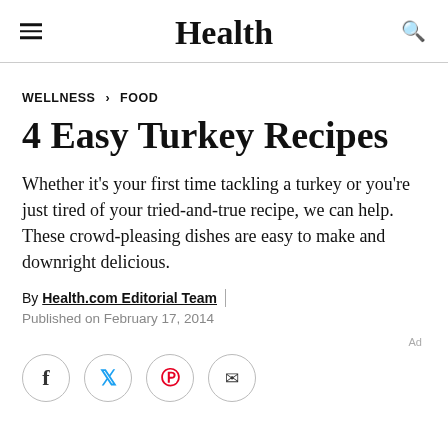Health
WELLNESS > FOOD
4 Easy Turkey Recipes
Whether it's your first time tackling a turkey or you're just tired of your tried-and-true recipe, we can help. These crowd-pleasing dishes are easy to make and downright delicious.
By Health.com Editorial Team | Published on February 17, 2014
Ad
[Figure (other): Social sharing icons: Facebook, Twitter, Pinterest, Email]